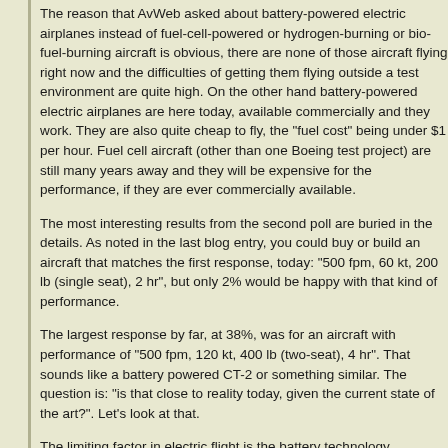The reason that AvWeb asked about battery-powered electric airplanes instead of fuel-cell-powered or hydrogen-burning or bio-fuel-burning aircraft is obvious, there are none of those aircraft flying right now and the difficulties of getting them flying outside a test environment are quite high. On the other hand battery-powered electric airplanes are here today, available commercially and they work. They are also quite cheap to fly, the "fuel cost" being under $1 per hour. Fuel cell aircraft (other than one Boeing test project) are still many years away and they will be expensive for the performance, if they are ever commercially available.
The most interesting results from the second poll are buried in the details. As noted in the last blog entry, you could buy or build an aircraft that matches the first response, today: "500 fpm, 60 kt, 200 lb (single seat), 2 hr", but only 2% would be happy with that kind of performance.
The largest response by far, at 38%, was for an aircraft with performance of "500 fpm, 120 kt, 400 lb (two-seat), 4 hr". That sounds like a battery powered CT-2 or something similar. The question is: "is that close to reality today, given the current state of the art?". Let's look at that.
The limiting factor in electric flight is the battery technology. ElectraFlyer uses lithium polymer batteries that can provide 5.6 kwh of power at a weight of 78 lbs, which is 13.9 lbs/kwh. To meet the performance goals stated, an aircraft like a CT-2 would need to produce 100 hp (75 kw) for